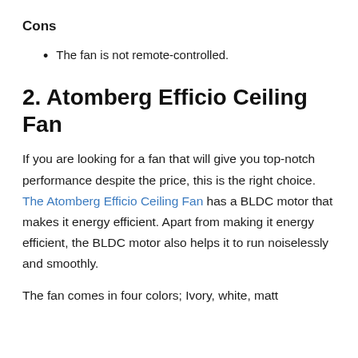Cons
The fan is not remote-controlled.
2. Atomberg Efficio Ceiling Fan
If you are looking for a fan that will give you top-notch performance despite the price, this is the right choice. The Atomberg Efficio Ceiling Fan has a BLDC motor that makes it energy efficient. Apart from making it energy efficient, the BLDC motor also helps it to run noiselessly and smoothly.
The fan comes in four colors; Ivory, white, matt